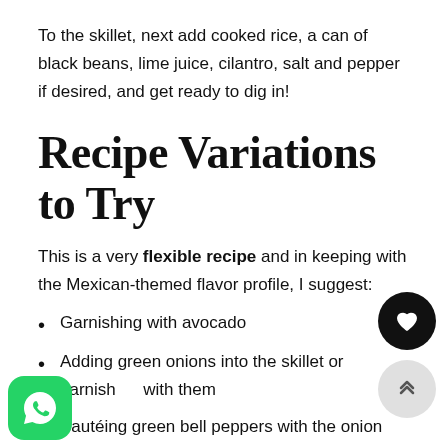To the skillet, next add cooked rice, a can of black beans, lime juice, cilantro, salt and pepper if desired, and get ready to dig in!
Recipe Variations to Try
This is a very flexible recipe and in keeping with the Mexican-themed flavor profile, I suggest:
Garnishing with avocado
Adding green onions into the skillet or garnishing with them
Sautéing green bell peppers with the onion before adding the skillet